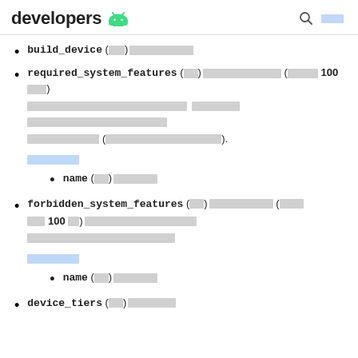developers [android icon] [search] [link]
build_device (필수)목표 기기
required_system_features (선택)시스템 기능 목록 (최대 100 항목)기기가 이 APK를 수신하려면 이 목록에 있는 기능을 모두 지원해야 합니다 (시스템 기능 이름 목록 참조).
하위 요소
name (필수)기능의 이름
forbidden_system_features (선택)시스템 기능 목록 (최대 100 개)기기가 이 APK를 수신하려면 이 목록에 있는 기능을 지원하지 않아야 합니다
하위 요소
name (필수)기능의 이름
device_tiers (선택)기기 등급